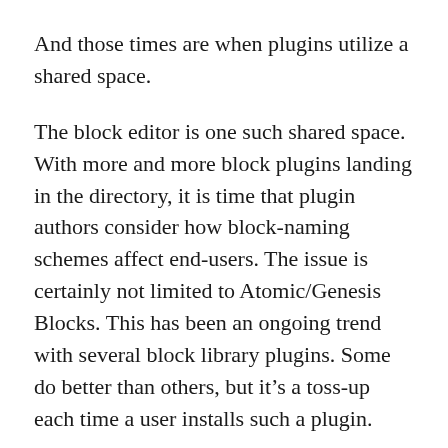And those times are when plugins utilize a shared space.
The block editor is one such shared space. With more and more block plugins landing in the directory, it is time that plugin authors consider how block-naming schemes affect end-users. The issue is certainly not limited to Atomic/Genesis Blocks. This has been an ongoing trend with several block library plugins. Some do better than others, but it’s a toss-up each time a user installs such a plugin.
The easiest route is for plugin authors to simply prefix all custom blocks with their company branding (e.g., AB Button). On the other hand, not every block shares a title with one of the core blocks.